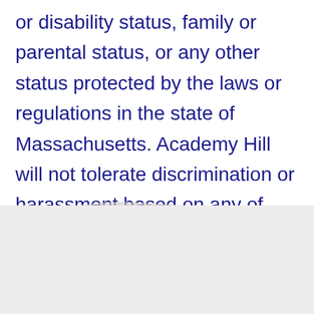or disability status, family or parental status, or any other status protected by the laws or regulations in the state of Massachusetts. Academy Hill will not tolerate discrimination or harassment based on any of these characteristics. AHS encourages qualified applicants of all ages.
[Figure (illustration): Decorative hill/mountain silhouette graphic in light gray transitioning to a gray footer band at the bottom of the page]